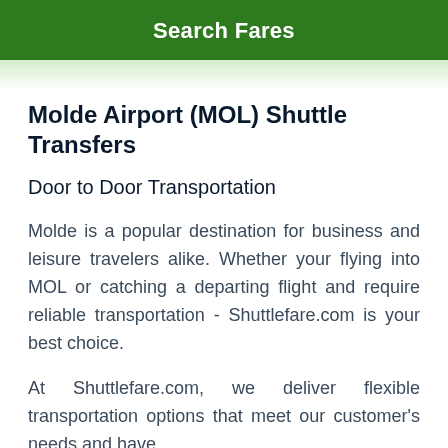Search Fares
Molde Airport (MOL) Shuttle Transfers
Door to Door Transportation
Molde is a popular destination for business and leisure travelers alike. Whether your flying into MOL or catching a departing flight and require reliable transportation - Shuttlefare.com is your best choice.
At Shuttlefare.com, we deliver flexible transportation options that meet our customer's needs and have